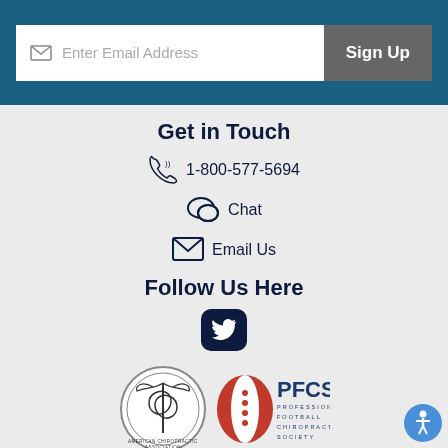Enter Email Address
Sign Up
Get in Touch
1-800-577-5694
Chat
Email Us
Follow Us Here
[Figure (logo): Twitter bird icon in dark navy rounded square button]
[Figure (logo): American Chiropractic Association circular seal logo and PFCS Professional Football Chiropractic Society logo]